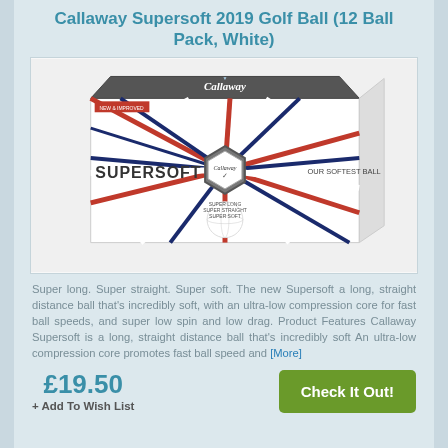Callaway Supersoft 2019 Golf Ball (12 Ball Pack, White)
[Figure (photo): Callaway Supersoft 2019 golf ball box (12 pack, white) — white box with red and navy radiating stripes, SUPERSOFT text on side, Callaway branding on top, golf ball image on front]
Super long. Super straight. Super soft. The new Supersoft a long, straight distance ball that's incredibly soft, with an ultra-low compression core for fast ball speeds, and super low spin and low drag. Product Features Callaway Supersoft is a long, straight distance ball that's incredibly soft An ultra-low compression core promotes fast ball speed and [More]
£19.50
+ Add To Wish List
Check It Out!